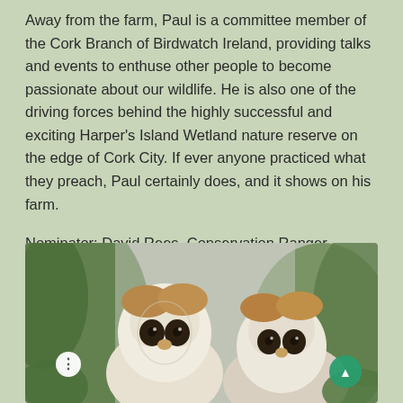Away from the farm, Paul is a committee member of the Cork Branch of Birdwatch Ireland, providing talks and events to enthuse other people to become passionate about our wildlife. He is also one of the driving forces behind the highly successful and exciting Harper's Island Wetland nature reserve on the edge of Cork City. If ever anyone practiced what they preach, Paul certainly does, and it shows on his farm.
Nominator: David Rees, Conservation Ranger, NPWS
[Figure (photo): Close-up photo of two barn owls facing the camera, with green foliage visible in the background. The owls have white heart-shaped faces with brown/golden feathers on their heads.]